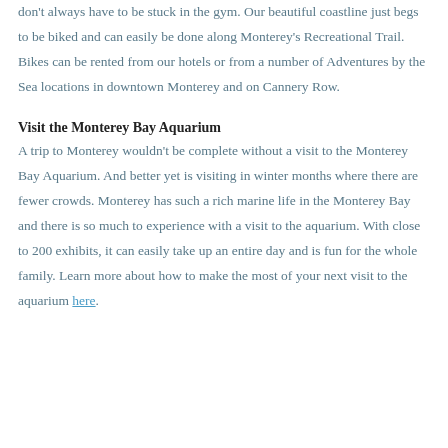don't always have to be stuck in the gym. Our beautiful coastline just begs to be biked and can easily be done along Monterey's Recreational Trail. Bikes can be rented from our hotels or from a number of Adventures by the Sea locations in downtown Monterey and on Cannery Row.
Visit the Monterey Bay Aquarium
A trip to Monterey wouldn't be complete without a visit to the Monterey Bay Aquarium. And better yet is visiting in winter months where there are fewer crowds. Monterey has such a rich marine life in the Monterey Bay and there is so much to experience with a visit to the aquarium. With close to 200 exhibits, it can easily take up an entire day and is fun for the whole family. Learn more about how to make the most of your next visit to the aquarium here.